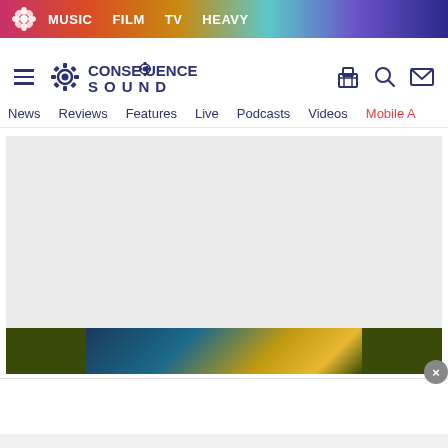MUSIC  FILM  TV  HEAVY
[Figure (logo): Consequence Sound logo with gear icon and text]
News  Reviews  Features  Live  Podcasts  Videos  Mobile A
[Figure (screenshot): Gray advertisement placeholder area]
[Figure (photo): Image strip showing a colorful scene with dark olive borders on sides, and a circular close button (x)]